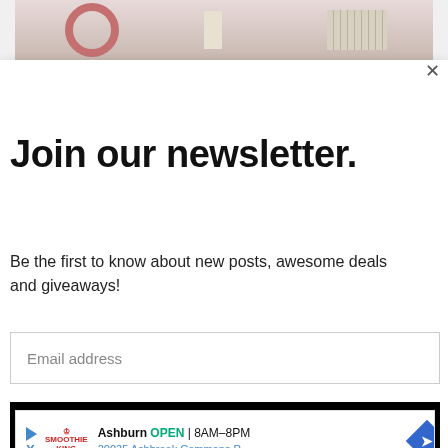[Figure (photo): Interior home decor photo showing a wreath, lamp, and window shutters]
Join our newsletter.
Be the first to know about new posts, awesome deals and giveaways!
Email address
Subscribe
[Figure (screenshot): Ad banner for Smoothie King: Ashburn OPEN 8AM–8PM, 20035 Ashbrook Commons P...]